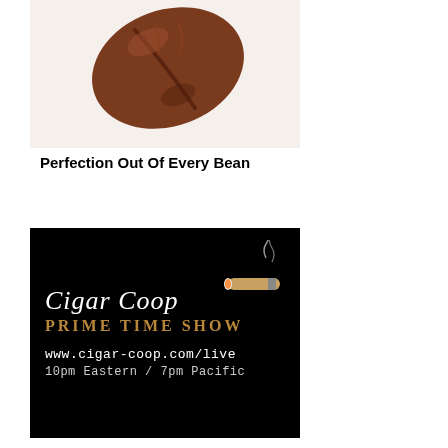[Figure (photo): Close-up photo of a coffee bean on a light background, with the tagline 'Perfection Out Of Every Bean' below it]
[Figure (logo): Cigar Coop Prime Time Show advertisement on black background with logo, URL www.cigar-coop.com/live, and showtime 10pm Eastern / 7pm Pacific]